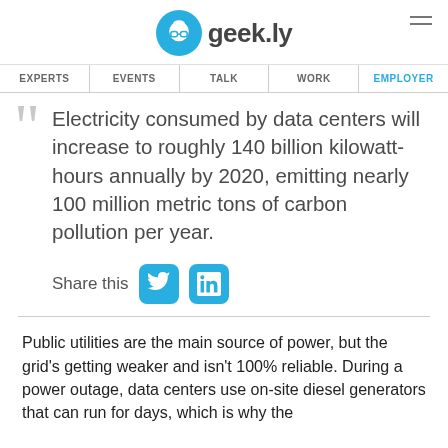geek.ly
EXPERTS | EVENTS | TALK | WORK | EMPLOYER
Electricity consumed by data centers will increase to roughly 140 billion kilowatt-hours annually by 2020, emitting nearly 100 million metric tons of carbon pollution per year.
Share this
Public utilities are the main source of power, but the grid's getting weaker and isn't 100% reliable. During a power outage, data centers use on-site diesel generators that can run for days, which is why the